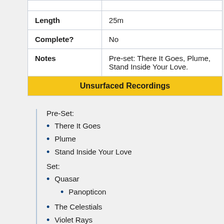|  |  |
| --- | --- |
| Length | 25m |
| Complete? | No |
| Notes | Pre-set: There It Goes, Plume, Stand Inside Your Love. |
| Unsurfaced Recordings |  |
Pre-Set:
There It Goes
Plume
Stand Inside Your Love
Set:
Quasar
Panopticon
The Celestials
Violet Rays
My Love is Winter
One Diamond, One Heart